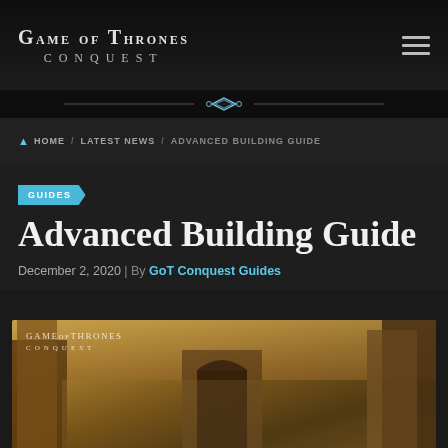[Figure (logo): Game of Thrones Conquest logo in header]
Game of Thrones Conquest — navigation header with hamburger menu
HOME / LATEST NEWS / ADVANCED BUILDING GUIDE
GUIDES
Advanced Building Guide
December 2, 2020 | By GoT Conquest Guides
[Figure (screenshot): Game of Thrones Conquest in-game castle/fortress image with the game logo watermark]